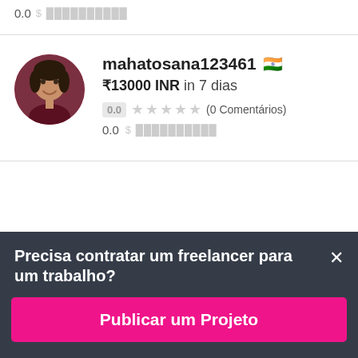0.0  $ ██████████
[Figure (photo): Profile photo of a woman smiling, circular avatar]
mahatosana123461 🇮🇳
₹13000 INR in 7 dias
0.0 ☆☆☆☆☆ (0 Comentários)
0.0 $ ██████████
Precisa contratar um freelancer para um trabalho?
Publicar um Projeto